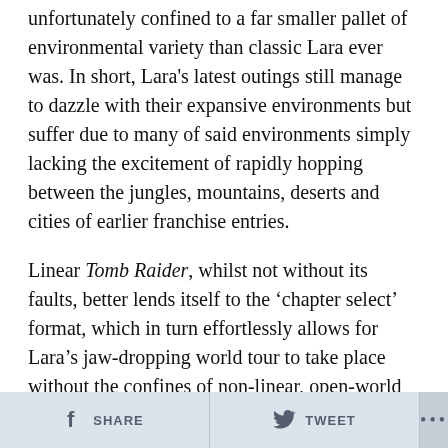unfortunately confined to a far smaller pallet of environmental variety than classic Lara ever was. In short, Lara's latest outings still manage to dazzle with their expansive environments but suffer due to many of said environments simply lacking the excitement of rapidly hopping between the jungles, mountains, deserts and cities of earlier franchise entries.
Linear Tomb Raider, whilst not without its faults, better lends itself to the 'chapter select' format, which in turn effortlessly allows for Lara's jaw-dropping world tour to take place without the confines of non-linear, open-world environmental connectivity. Each and every player's personal preference on the format of the Tomb Raider series will differ, but many can agree that both Lara's classic and modern outings have all boasted a bundle of merits.
SHARE  TWEET  ...